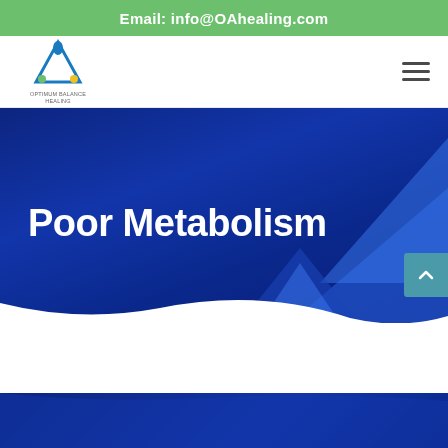Email: info@OAhealing.com
[Figure (logo): OA Healing logo with triangle/droplet icon above small text]
Poor Metabolism
[Figure (illustration): Dark blue hero banner with geometric triangle shapes and wave bottom edge]